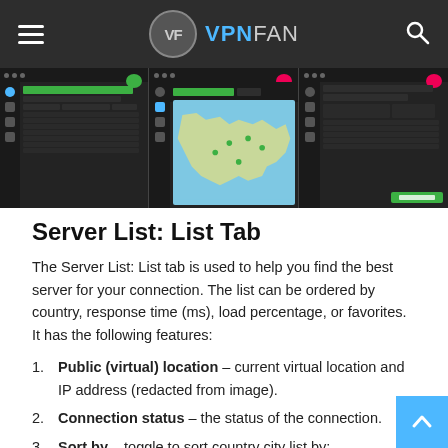VF VPNFAN
[Figure (screenshot): Three VPN application screenshots side by side: left shows a server list view, center shows a map view of Europe, right shows another server list with options.]
Server List: List Tab
The Server List: List tab is used to help you find the best server for your connection. The list can be ordered by country, response time (ms), load percentage, or favorites. It has the following features:
Public (virtual) location – current virtual location and IP address (redacted from image).
Connection status – the status of the connection.
Sort by – toggle to sort country city list by: